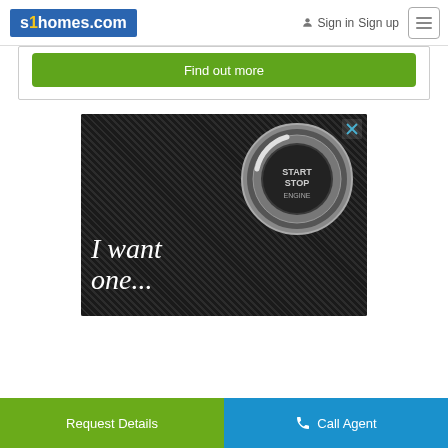s1homes.com  Sign in  Sign up
Find out more
[Figure (photo): Advertisement image on dark carbon-fiber-like background showing a car START STOP ENGINE button and italic white text 'I want one...']
Request Details  Call Agent